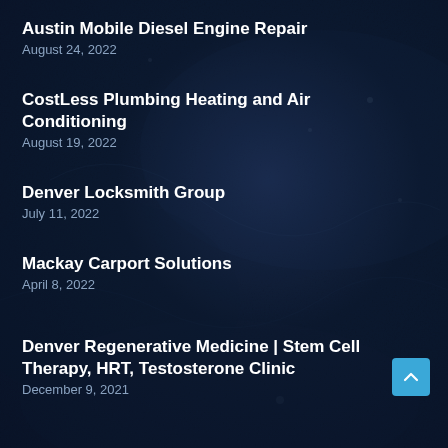Austin Mobile Diesel Engine Repair
August 24, 2022
CostLess Plumbing Heating and Air Conditioning
August 19, 2022
Denver Locksmith Group
July 11, 2022
Mackay Carport Solutions
April 8, 2022
Denver Regenerative Medicine | Stem Cell Therapy, HRT, Testosterone Clinic
December 9, 2021